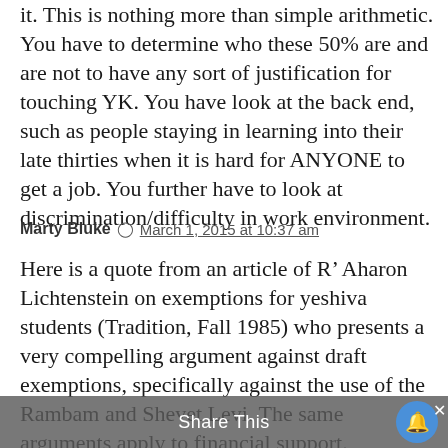it. This is nothing more than simple arithmetic. You have to determine who these 50% are and are not to have any sort of justification for touching YK. You have look at the back end, such as people staying in learning into their late thirties when it is hard for ANYONE to get a job. You further have to look at discrimination/difficulty in work environment.
Marty Bluke  March 1, 2015 at 10:37 am
Here is a quote from an article of R' Aharon Lichtenstein on exemptions for yeshiva students (Tradition, Fall 1985) who presents a very compelling argument against draft exemptions, specifically against the use of the Rambam and Shevet Levi. The same arguments apply to financial support.